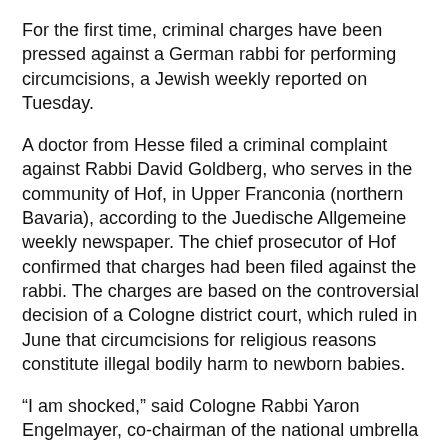For the first time, criminal charges have been pressed against a German rabbi for performing circumcisions, a Jewish weekly reported on Tuesday.
A doctor from Hesse filed a criminal complaint against Rabbi David Goldberg, who serves in the community of Hof, in Upper Franconia (northern Bavaria), according to the Juedische Allgemeine weekly newspaper. The chief prosecutor of Hof confirmed that charges had been filed against the rabbi. The charges are based on the controversial decision of a Cologne district court, which ruled in June that circumcisions for religious reasons constitute illegal bodily harm to newborn babies.
“I am shocked,” said Cologne Rabbi Yaron Engelmayer, co-chairman of the national umbrella group of Orthodox rabbis in Germany, in a first reaction to the report. This marks the first time that a court in the Federal Republic of Germany is investigating a rabbi for performing a religious ritual, Engelmayer told the paper.
Goldberg was qualified to perform circumcisions (according to...